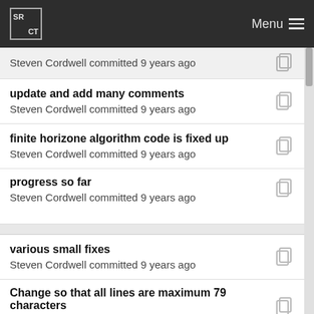SR CT Menu
Steven Cordwell committed 9 years ago
update and add many comments
Steven Cordwell committed 9 years ago
finite horizone algorithm code is fixed up
Steven Cordwell committed 9 years ago
progress so far
Steven Cordwell committed 9 years ago
various small fixes
Steven Cordwell committed 9 years ago
Change so that all lines are maximum 79 characters
Steven Cordwell committed 9 years ago
update and add many comments
Steven Cordwell committed 9 years ago
added class FiniteHorizon
Steven Cordwell committed 9 years ago